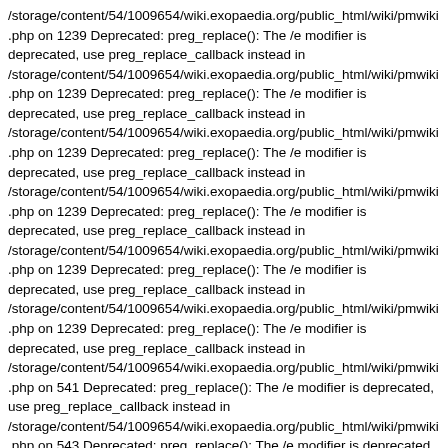/storage/content/54/1009654/wiki.exopaedia.org/public_html/wiki/pmwiki.php on 1239 Deprecated: preg_replace(): The /e modifier is deprecated, use preg_replace_callback instead in /storage/content/54/1009654/wiki.exopaedia.org/public_html/wiki/pmwiki.php on 1239 Deprecated: preg_replace(): The /e modifier is deprecated, use preg_replace_callback instead in /storage/content/54/1009654/wiki.exopaedia.org/public_html/wiki/pmwiki.php on 1239 Deprecated: preg_replace(): The /e modifier is deprecated, use preg_replace_callback instead in /storage/content/54/1009654/wiki.exopaedia.org/public_html/wiki/pmwiki.php on 1239 Deprecated: preg_replace(): The /e modifier is deprecated, use preg_replace_callback instead in /storage/content/54/1009654/wiki.exopaedia.org/public_html/wiki/pmwiki.php on 1239 Deprecated: preg_replace(): The /e modifier is deprecated, use preg_replace_callback instead in /storage/content/54/1009654/wiki.exopaedia.org/public_html/wiki/pmwiki.php on 1239 Deprecated: preg_replace(): The /e modifier is deprecated, use preg_replace_callback instead in /storage/content/54/1009654/wiki.exopaedia.org/public_html/wiki/pmwiki.php on 541 Deprecated: preg_replace(): The /e modifier is deprecated, use preg_replace_callback instead in /storage/content/54/1009654/wiki.exopaedia.org/public_html/wiki/pmwiki.php on 543 Deprecated: preg_replace(): The /e modifier is deprecated, use preg_replace_callback instead in /storage/content/54/1009654/wiki.exopaedia.org/public_html/wiki/pmwiki.php on 347 Deprecated: preg_replace(): The /e modifier is deprecated, use preg_replace_callback instead in